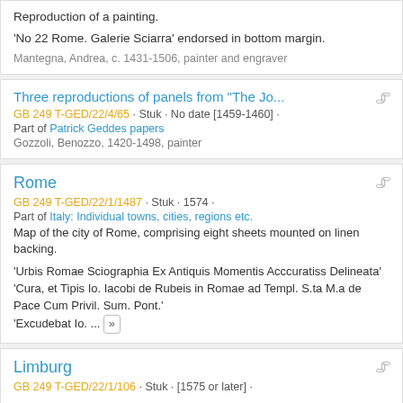Reproduction of a painting.
'No 22 Rome. Galerie Sciarra' endorsed in bottom margin.
Mantegna, Andrea, c. 1431-1506, painter and engraver
Three reproductions of panels from "The Jo...
GB 249 T-GED/22/4/65 · Stuk · No date [1459-1460] ·
Part of Patrick Geddes papers
Gozzoli, Benozzo, 1420-1498, painter
Rome
GB 249 T-GED/22/1/1487 · Stuk · 1574 ·
Part of Italy: Individual towns, cities, regions etc.
Map of the city of Rome, comprising eight sheets mounted on linen backing.
'Urbis Romae Sciographia Ex Antiquis Momentis Acccuratiss Delineata'
'Cura, et Tipis Io. Iacobi de Rubeis in Romae ad Templ. S.ta M.a de Pace Cum Privil. Sum. Pont.'
'Excudebat Io. ... »
Limburg
GB 249 T-GED/22/1/106 · Stuk · [1575 or later] ·